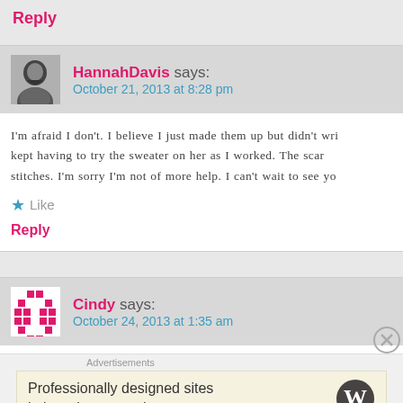Reply
HannahDavis says: October 21, 2013 at 8:28 pm
I'm afraid I don't. I believe I just made them up but didn't wri kept having to try the sweater on her as I worked. The scar stitches. I'm sorry I'm not of more help. I can't wait to see yo
Like
Reply
Cindy says: October 24, 2013 at 1:35 am
lovely!
Advertisements Professionally designed sites in less than a week